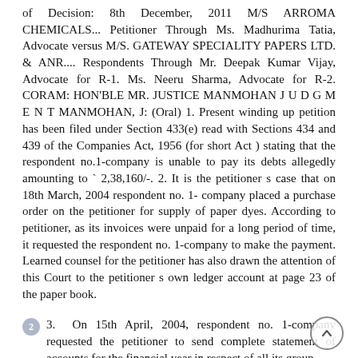of Decision: 8th December, 2011 M/S ARROMA CHEMICALS... Petitioner Through Ms. Madhurima Tatia, Advocate versus M/S. GATEWAY SPECIALITY PAPERS LTD. & ANR.... Respondents Through Mr. Deepak Kumar Vijay, Advocate for R-1. Ms. Neeru Sharma, Advocate for R-2. CORAM: HON'BLE MR. JUSTICE MANMOHAN J U D G M E N T MANMOHAN, J: (Oral) 1. Present winding up petition has been filed under Section 433(e) read with Sections 434 and 439 of the Companies Act, 1956 (for short Act ) stating that the respondent no.1-company is unable to pay its debts allegedly amounting to ` 2,38,160/-. 2. It is the petitioner s case that on 18th March, 2004 respondent no. 1- company placed a purchase order on the petitioner for supply of paper dyes. According to petitioner, as its invoices were unpaid for a long period of time, it requested the respondent no. 1-company to make the payment. Learned counsel for the petitioner has also drawn the attention of this Court to the petitioner s own ledger account at page 23 of the paper book.
3. On 15th April, 2004, respondent no. 1-company requested the petitioner to send complete statement of accounts for the financial year in respect of all its group